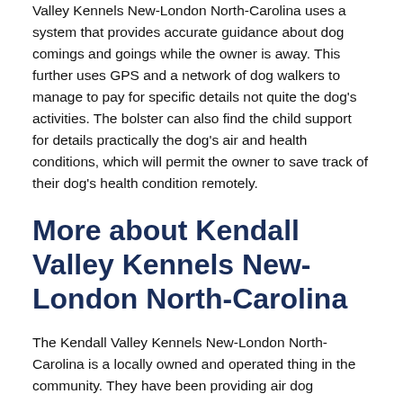Valley Kennels New-London North-Carolina uses a system that provides accurate guidance about dog comings and goings while the owner is away. This further uses GPS and a network of dog walkers to manage to pay for specific details not quite the dog's activities. The bolster can also find the child support for details practically the dog's air and health conditions, which will permit the owner to save track of their dog's health condition remotely.
More about Kendall Valley Kennels New-London North-Carolina
The Kendall Valley Kennels New-London North-Carolina is a locally owned and operated thing in the community. They have been providing air dog